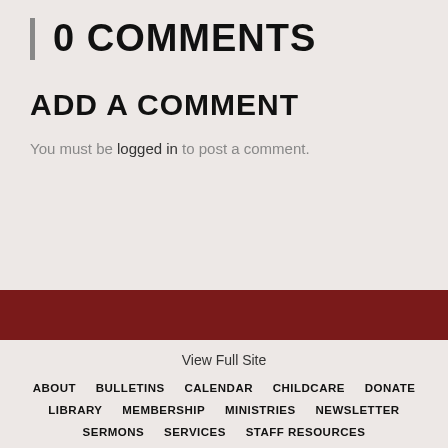0 COMMENTS
ADD A COMMENT
You must be logged in to post a comment.
View Full Site
ABOUT   BULLETINS   CALENDAR   CHILDCARE   DONATE   LIBRARY   MEMBERSHIP   MINISTRIES   NEWSLETTER   SERMONS   SERVICES   STAFF RESOURCES